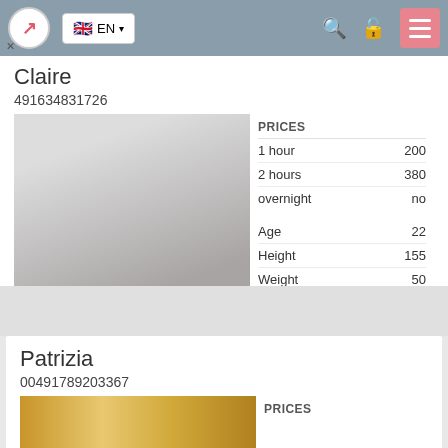EN (language selector, search, lock, menu icons)
Claire
491634831726
[Figure (photo): Photo of a person, location label: koln-chorweiler]
|  |  |
| --- | --- |
| PRICES |  |
| 1 hour | 200 |
| 2 hours | 380 |
| overnight | no |
| Age | 22 |
| Height | 155 |
| Weight | 50 |
| Breast | 2 |
Patrizia
00491789203367
[Figure (photo): Partial photo visible at bottom, warm golden/amber tones]
PRICES